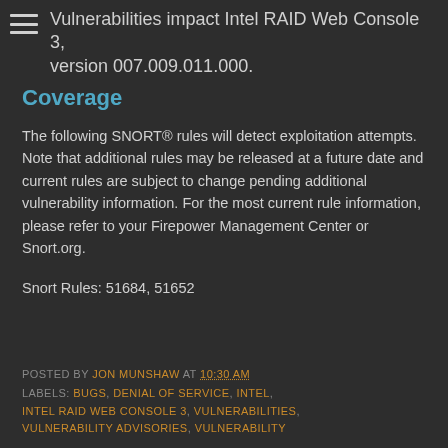Vulnerabilities impact Intel RAID Web Console 3, version 007.009.011.000.
Coverage
The following SNORT® rules will detect exploitation attempts. Note that additional rules may be released at a future date and current rules are subject to change pending additional vulnerability information. For the most current rule information, please refer to your Firepower Management Center or Snort.org.
Snort Rules: 51684, 51652
POSTED BY JON MUNSHAW AT 10:30 AM. LABELS: BUGS, DENIAL OF SERVICE, INTEL, INTEL RAID WEB CONSOLE 3, VULNERABILITIES, VULNERABILITY ADVISORIES, VULNERABILITY